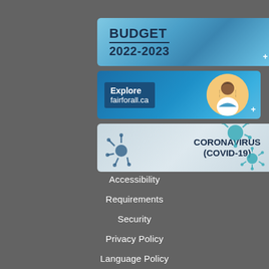[Figure (screenshot): Budget 2022-2023 banner with blue gradient background]
[Figure (screenshot): Explore fairforall.ca banner with blue background and illustrated person]
[Figure (screenshot): Coronavirus (COVID-19) banner with light blue/grey background and virus illustrations]
Accessibility
Requirements
Security
Privacy Policy
Language Policy
Social Media Policy